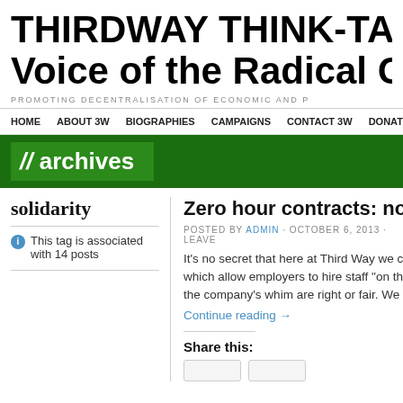THIRDWAY THINK-TANK | T Voice of the Radical Centre
PROMOTING DECENTRALISATION OF ECONOMIC AND P
HOME   ABOUT 3W   BIOGRAPHIES   CAMPAIGNS   CONTACT 3W   DONATE
// archives
solidarity
This tag is associated with 14 posts
Zero hour contracts: no goo
POSTED BY ADMIN · OCTOBER 6, 2013 · LEAVE
It's no secret that here at Third Way we c which allow employers to hire staff "on th the company's whim are right or fair. We
Continue reading →
Share this: